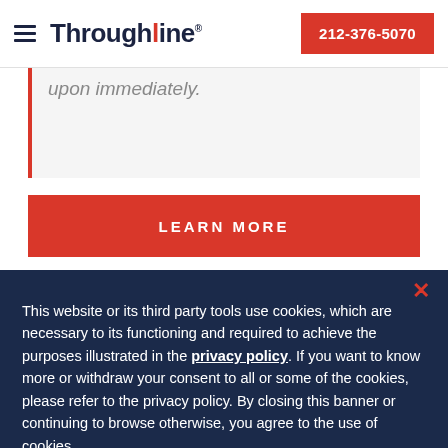Throughline | 212-376-5070
upon immediately.
LEARN MORE
This website or its third party tools use cookies, which are necessary to its functioning and required to achieve the purposes illustrated in the privacy policy. If you want to know more or withdraw your consent to all or some of the cookies, please refer to the privacy policy. By closing this banner or continuing to browse otherwise, you agree to the use of cookies.